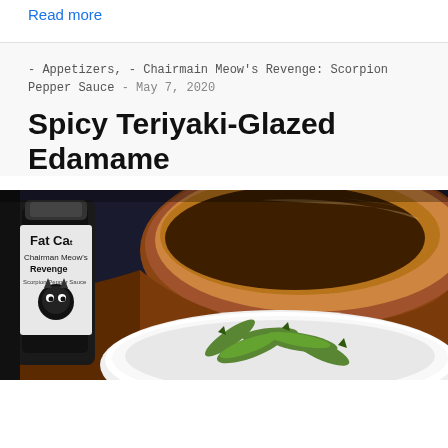Read more
- Appetizers, - Chairmain Meow's Revenge: Scorpion Pepper Sauce - May 7, 2020
Spicy Teriyaki-Glazed Edamame
[Figure (photo): Photo of Fat Cat Chairman Meow's Revenge Scorpion Pepper Sauce bottle next to a brown clay bowl containing glazed edamame (green pods) in a white bowl]